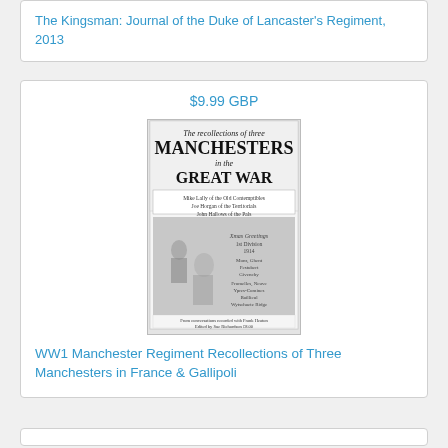The Kingsman: Journal of the Duke of Lancaster's Regiment, 2013
$9.99 GBP
[Figure (photo): Book cover of 'The recollections of three MANCHESTERS in the GREAT WAR' featuring an illustration of WWI soldiers and a Christmas greeting card from 1st Division 1914. Text reads: Mike Lally of the Old Contemptibles, Joe Horgan of the Territorials, John Hallows of the Pals. From conversations recorded with Frank Heaton. Edited by Sue Richardson.]
WW1 Manchester Regiment Recollections of Three Manchesters in France & Gallipoli